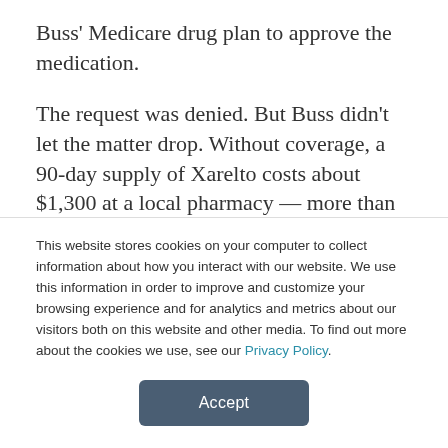Buss' Medicare drug plan to approve the medication.
The request was denied. But Buss didn't let the matter drop. Without coverage, a 90-day supply of Xarelto costs about $1,300 at a local pharmacy — more than 10 times what Buss had been paying.
“That killed me,” said Buss, who remembers
This website stores cookies on your computer to collect information about how you interact with our website. We use this information in order to improve and customize your browsing experience and for analytics and metrics about our visitors both on this website and other media. To find out more about the cookies we use, see our Privacy Policy.